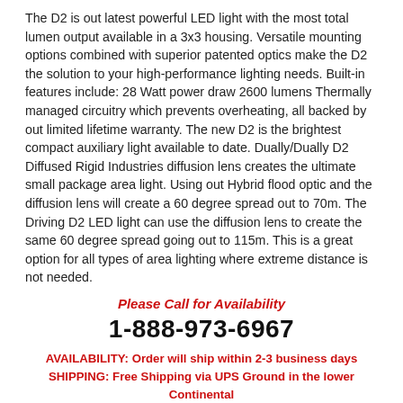The D2 is out latest powerful LED light with the most total lumen output available in a 3x3 housing. Versatile mounting options combined with superior patented optics make the D2 the solution to your high-performance lighting needs. Built-in features include: 28 Watt power draw 2600 lumens Thermally managed circuitry which prevents overheating, all backed by out limited lifetime warranty. The new D2 is the brightest compact auxiliary light available to date. Dually/Dually D2 Diffused Rigid Industries diffusion lens creates the ultimate small package area light. Using out Hybrid flood optic and the diffusion lens will create a 60 degree spread out to 70m. The Driving D2 LED light can use the diffusion lens to create the same 60 degree spread going out to 115m. This is a great option for all types of area lighting where extreme distance is not needed.
Please Call for Availability
1-888-973-6967
AVAILABILITY: Order will ship within 2-3 business days SHIPPING: Free Shipping via UPS Ground in the lower Continental 48 states.